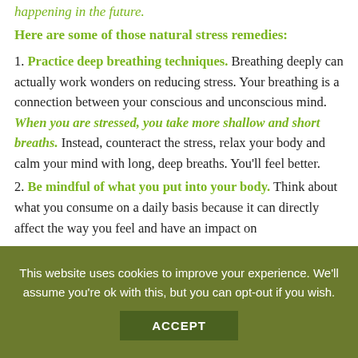happening in the future.
Here are some of those natural stress remedies:
1. Practice deep breathing techniques. Breathing deeply can actually work wonders on reducing stress. Your breathing is a connection between your conscious and unconscious mind. When you are stressed, you take more shallow and short breaths. Instead, counteract the stress, relax your body and calm your mind with long, deep breaths. You'll feel better.
2. Be mindful of what you put into your body. Think about what you consume on a daily basis because it can directly affect the way you feel and have an impact on
This website uses cookies to improve your experience. We'll assume you're ok with this, but you can opt-out if you wish. ACCEPT